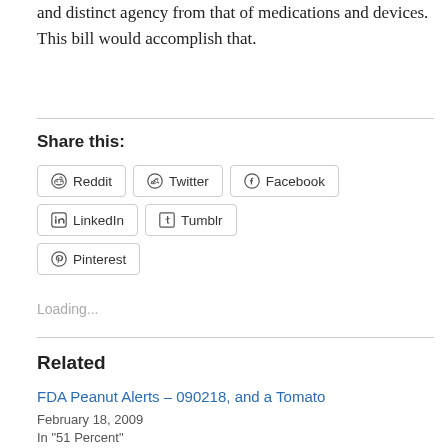and distinct agency from that of medications and devices. This bill would accomplish that.
Share this:
[Figure (other): Social sharing buttons: Reddit, Twitter, Facebook, LinkedIn, Tumblr, Pinterest]
Loading...
Related
FDA Peanut Alerts – 090218, and a Tomato
February 18, 2009
In "51 Percent"